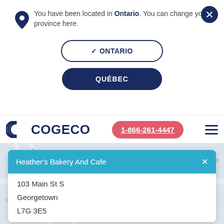You have been located in Ontario. You can change your province here.
✓ ONTARIO
QUÉBEC
[Figure (logo): Cogeco logo with stylized C icon and COGECO wordmark in dark blue]
1-866-261-4447
Heather's Bakery And Cafe
103 Main St S
Georgetown
L7G 3E5